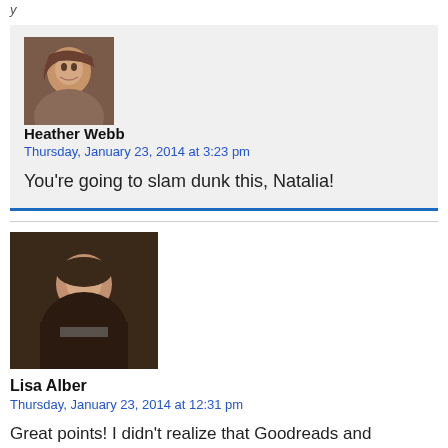[Figure (photo): Profile photo of Heather Webb, a woman with long hair]
Heather Webb
Thursday, January 23, 2014 at 3:23 pm
You're going to slam dunk this, Natalia!
[Figure (photo): Profile photo of Lisa Alber, a woman looking down]
Lisa Alber
Thursday, January 23, 2014 at 12:31 pm
Great points! I didn't realize that Goodreads and LibraryThing email reminders on pub dates. That's